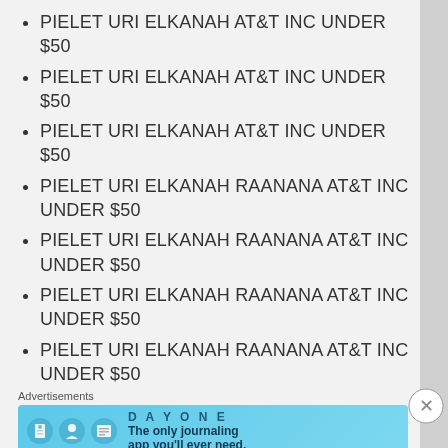PIELET URI ELKANAH AT&T INC UNDER $50
PIELET URI ELKANAH AT&T INC UNDER $50
PIELET URI ELKANAH AT&T INC UNDER $50
PIELET URI ELKANAH RAANANA AT&T INC UNDER $50
PIELET URI ELKANAH RAANANA AT&T INC UNDER $50
PIELET URI ELKANAH RAANANA AT&T INC UNDER $50
PIELET URI ELKANAH RAANANA AT&T INC UNDER $50
PIELET URI ELKANAH ISRAEL CINGULAR WIRELESS LLC OVER $50
PIELET URI ELKANAH ISRAEL CINGULAR
Advertisements